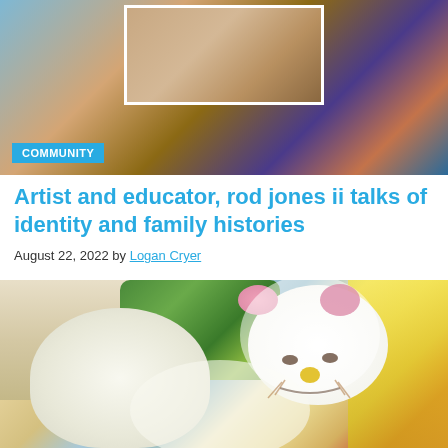[Figure (photo): Top banner image showing people in colorful clothing, partially framed by white border in the center, with a 'COMMUNITY' badge overlay]
Artist and educator, rod jones ii talks of identity and family histories
August 22, 2022 by Logan Cryer
[Figure (photo): Artistic painting/illustration featuring a Hello Kitty figure with pink flower, set against a colorful background with buildings, trees, and warm golden tones]